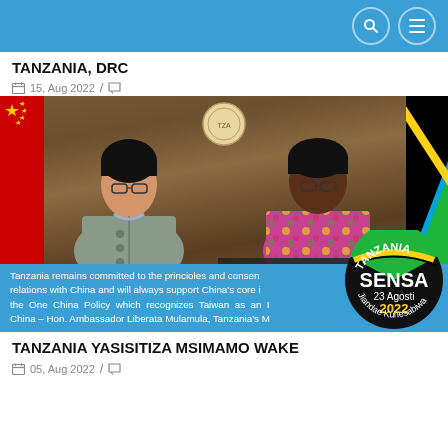Navigation bar with search and menu icons
TANZANIA, DRC
15, Aug 2022 /
[Figure (photo): Two women standing and smiling for a photo: Chen Mingjian (Chinese Ambassador to Tanzania) on the left in a grey blazer, and Amb. Liberata Mulamula (Minister of Foreign Affairs & East African Cooperation) on the right in a colorful patterned blouse. Flags visible on sides. Government emblem at top center. Blue caption strip at bottom reads: Tanzania remains committed to the princioles and consen relations with China and will always support China's core i the One China Policy which recognizes Taiwan as an China – Hon. Ambassador Liberata Mulamula, Tanzania's M. A Tanzania SENSA 23 Agosti 2022 Jiandae Kuhesabiwa stamp overlaid at bottom right.]
TANZANIA YASISITIZA MSIMAMO WAKE
05, Aug 2022 /